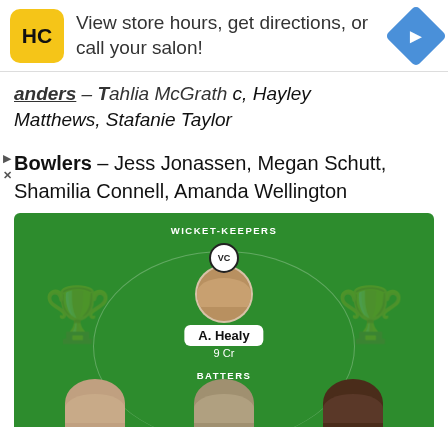[Figure (screenshot): Advertisement banner for HC (Hair Club?) salon: yellow square logo with HC text, navigation arrow icon, text: View store hours, get directions, or call your salon!]
Sanders – Tahlia McGrath c, Hayley Matthews, Stafanie Taylor
Bowlers – Jess Jonassen, Megan Schutt, Shamilia Connell, Amanda Wellington
[Figure (infographic): Fantasy cricket team selection graphic on green cricket field background. Shows WICKET-KEEPERS section with player A. Healy (VC badge, 9 Cr) and BATTERS section with three partially visible player photos at bottom.]